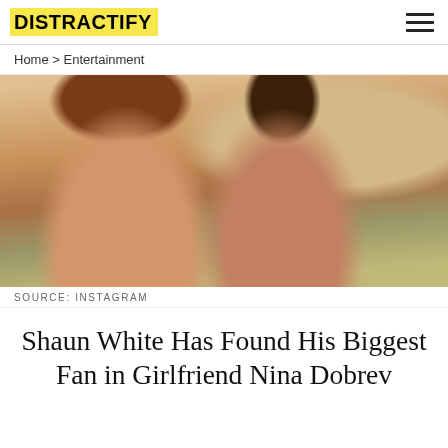DISTRACTIFY
Home > Entertainment
[Figure (photo): A couple taking a selfie outdoors in a desert landscape at sunset. A man on the left makes a silly face with his tongue out, and a woman on the right leans in close, also smiling. Sandy, arid terrain and golden-hour sky visible in background.]
SOURCE: INSTAGRAM
Shaun White Has Found His Biggest Fan in Girlfriend Nina Dobrev